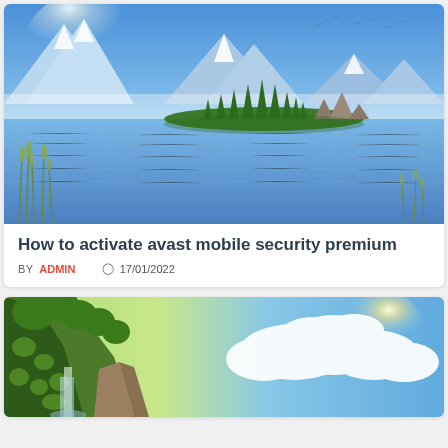[Figure (illustration): Fantasy landscape painting with blue snow-capped mountains reflected in a calm lake, green trees and rocky formations in the middle ground, reeds in foreground, blue sky with birds above]
How to activate avast mobile security premium
BY ADMIN  17/01/2022
[Figure (illustration): Nature landscape with lush green trees on rocky cliff on the left, waterfall below, bright blue sky with large white clouds and sun on right]